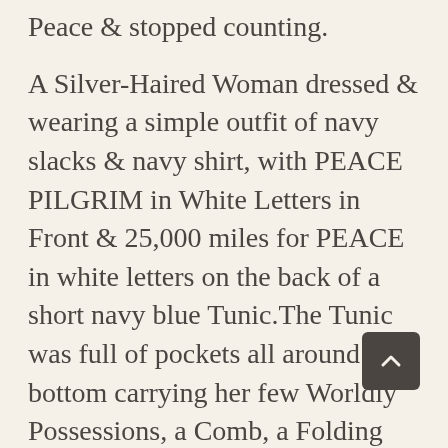Peace & stopped counting.
A Silver-Haired Woman dressed & wearing a simple outfit of navy slacks & navy shirt, with PEACE PILGRIM in White Letters in Front & 25,000 miles for PEACE in white letters on the back of a short navy blue Tunic.The Tunic was full of pockets all around the bottom carrying her few Worldly Possessions, a Comb, a Folding Toothbrush, ball point pen, current correspondence & a Leaflet with her Message.
In 1953, Peace stepped out in Front of the Rose Bowl Parade, & for the